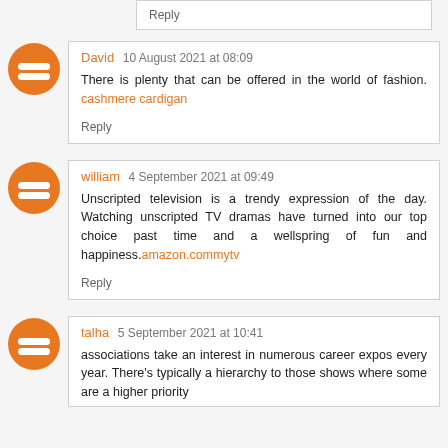Reply
David 10 August 2021 at 08:09
There is plenty that can be offered in the world of fashion. cashmere cardigan
Reply
william 4 September 2021 at 09:49
Unscripted television is a trendy expression of the day. Watching unscripted TV dramas have turned into our top choice past time and a wellspring of fun and happiness.amazon.commytv
Reply
talha 5 September 2021 at 10:41
associations take an interest in numerous career expos every year. There's typically a hierarchy to those shows where some are a higher priority